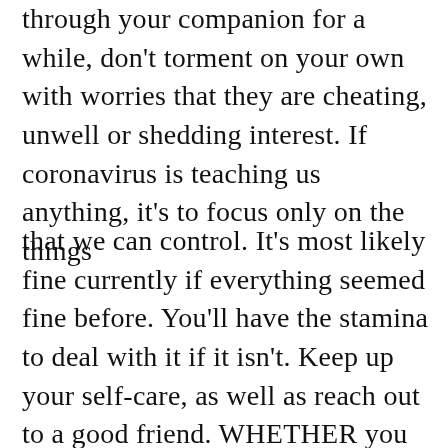through your companion for a while, don't torment on your own with worries that they are cheating, unwell or shedding interest. If coronavirus is teaching us anything, it's to focus only on the things
that we can control. It's most likely fine currently if everything seemed fine before. You'll have the stamina to deal with it if it isn't. Keep up your self-care, as well as reach out to a good friend. WHETHER you relocated with each other for the lockdown or you were newly unboxed when the crisis broke, this moment is placing more stress on your link than regular. If your libido has